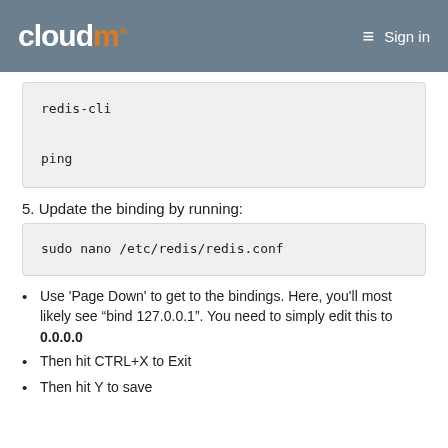cloudm® Sign in
5. Update the binding by running:
Use 'Page Down' to get to the bindings. Here, you'll most likely see "bind 127.0.0.1". You need to simply edit this to 0.0.0.0
Then hit CTRL+X to Exit
Then hit Y to save